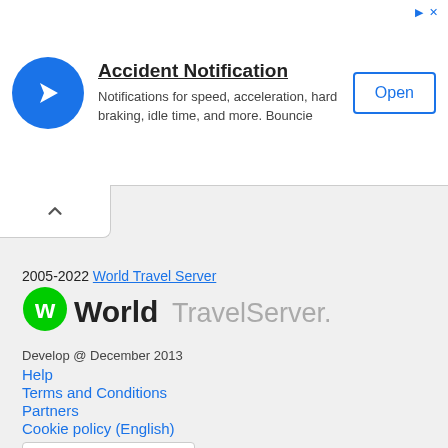[Figure (infographic): Ad banner for Accident Notification app by Bouncie with blue circular icon, title, description, and Open button]
Accident Notification
Notifications for speed, acceleration, hard braking, idle time, and more. Bouncie
2005-2022 World Travel Server
[Figure (logo): WorldTravelServer.com logo with green W icon and styled text]
Develop @ December 2013
Help
Terms and Conditions
Partners
Cookie policy (English)
Language: English ▼
Free listing
Contacts
Recommend this portal
Report error